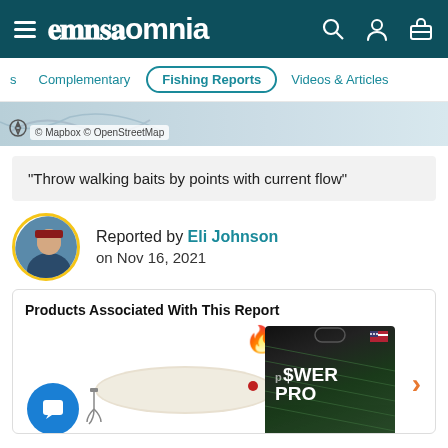omnia
Complementary | Fishing Reports | Videos & Articles
[Figure (screenshot): Map snippet with Mapbox and OpenStreetMap attribution]
“Throw walking baits by points with current flow”
[Figure (photo): Profile photo of Eli Johnson holding a fish, with yellow circle border]
Reported by Eli Johnson on Nov 16, 2021
Products Associated With This Report
[Figure (photo): White fishing lure (walking bait) with treble hooks and red dot; Power Pro fishing line box; fire icon above lure; next arrow on right; blue chat bubble bottom left]